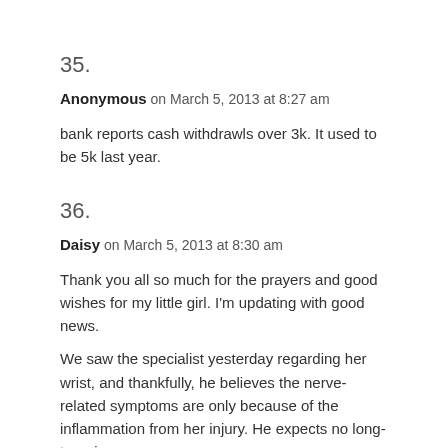35.
Anonymous on March 5, 2013 at 8:27 am
bank reports cash withdrawls over 3k. It used to be 5k last year.
36.
Daisy on March 5, 2013 at 8:30 am
Thank you all so much for the prayers and good wishes for my little girl. I'm updating with good news.
We saw the specialist yesterday regarding her wrist, and thankfully, he believes the nerve-related symptoms are only because of the inflammation from her injury. He expects no long-term issues.
She has a tom ligament in her wrist. The doctor does